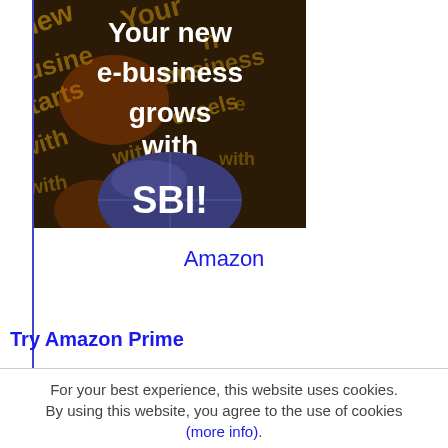[Figure (illustration): Dark background with golden overlapping words (new, business, starts, with, excels) and bold white text reading 'Your new e-business grows with' above a blue oval badge with 'SBI!' in white]
Amazon
Try Amazon Prime
For your best experience, this website uses cookies. By using this website, you agree to the use of cookies (more info). GOT IT